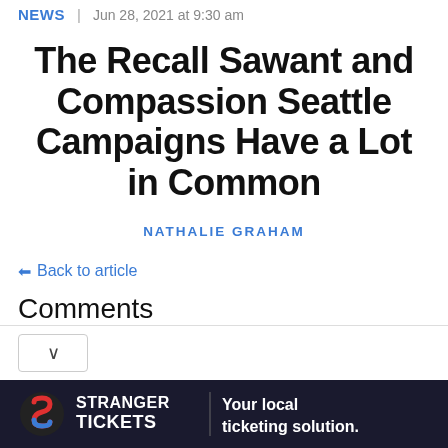NEWS | Jun 28, 2021 at 9:30 am
The Recall Sawant and Compassion Seattle Campaigns Have a Lot in Common
NATHALIE GRAHAM
← Back to article
Comments
[Figure (screenshot): Stranger Tickets advertisement banner: logo with red and blue S, text 'STRANGER TICKETS Your local ticketing solution.']